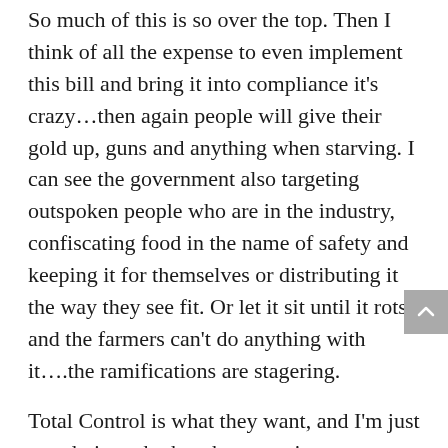So much of this is so over the top. Then I think of all the expense to even implement this bill and bring it into compliance it's crazy…then again people will give their gold up, guns and anything when starving. I can see the government also targeting outspoken people who are in the industry, confiscating food in the name of safety and keeping it for themselves or distributing it the way they see fit. Or let it sit until it rots and the farmers can't do anything with it….the ramifications are stagering.
Total Control is what they want, and I'm just wondering who has the gumption to stop them, or the power????
I think if we can just last two years, but